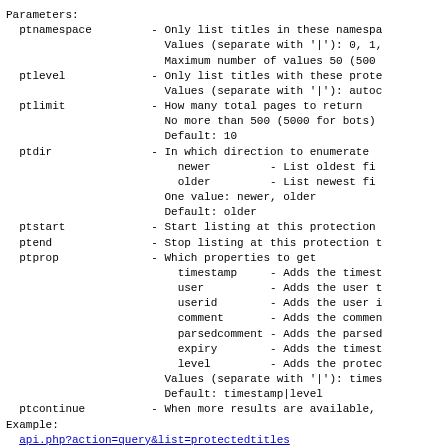Parameters:
  ptnamespace         - Only list titles in these namespa
                        Values (separate with '|'): 0, 1,
                        Maximum number of values 50 (500
  ptlevel             - Only list titles with these prote
                        Values (separate with '|'): autoc
  ptlimit             - How many total pages to return
                        No more than 500 (5000 for bots)
                        Default: 10
  ptdir               - In which direction to enumerate
                          newer         - List oldest fi
                          older         - List newest fi
                        One value: newer, older
                        Default: older
  ptstart             - Start listing at this protection
  ptend               - Stop listing at this protection t
  ptprop              - Which properties to get
                          timestamp     - Adds the timest
                          user          - Adds the user t
                          userid        - Adds the user i
                          comment       - Adds the commen
                          parsedcomment - Adds the parsed
                          expiry        - Adds the timest
                          level         - Adds the protec
                        Values (separate with '|'): times
                        Default: timestamp|level
  ptcontinue          - When more results are available,
Example:
  api.php?action=query&list=protectedtitles
Generator: